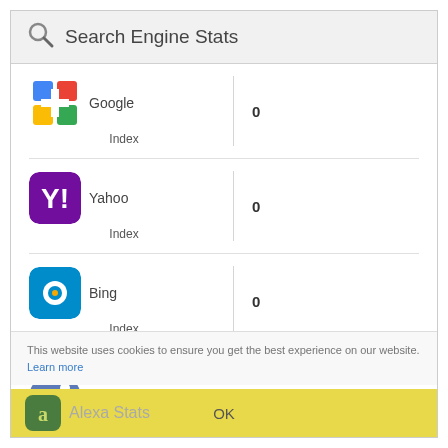Search Engine Stats
| Engine | Value |
| --- | --- |
| Google Index | 0 |
| Yahoo Index | 0 |
| Bing Index | 0 |
| Google Backlinks | 0 |
This website uses cookies to ensure you get the best experience on our website. Learn more
Alexa Stats
OK